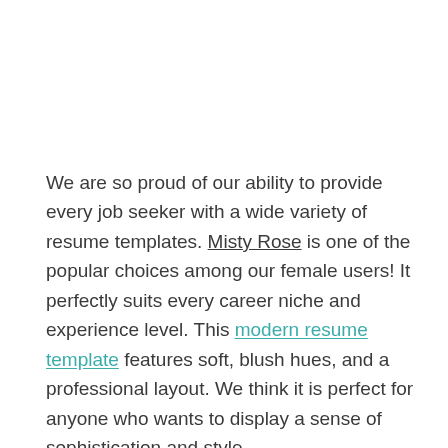We are so proud of our ability to provide every job seeker with a wide variety of resume templates. Misty Rose is one of the popular choices among our female users! It perfectly suits every career niche and experience level. This modern resume template features soft, blush hues, and a professional layout. We think it is perfect for anyone who wants to display a sense of sophistication and style.